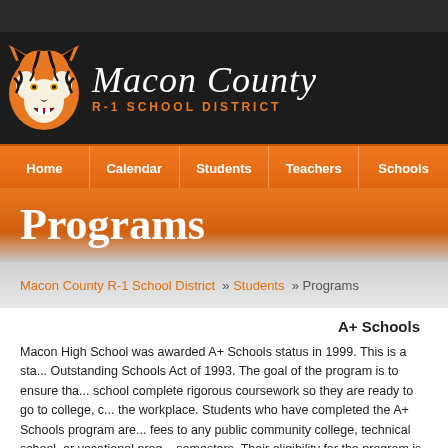[Figure (logo): Macon County R-1 School District logo with tiger mascot and script text]
Home | Calendar | Students | Teachers | Schools
Programs
Macon County R-1 School District » Students » Programs
A+ Schools
Macon High School was awarded A+ Schools status in 1999. This is a sta... Outstanding Schools Act of 1993. The goal of the program is to ensure tha... school complete rigorous coursework so they are ready to go to college, c... the workplace. Students who have completed the A+ Schools program are... fees to any public community college, technical school, or vocational prog... semesters. Their eligibility for the program is for four years following their... contract with the school, attend that school for three consecutive years, g... least a 95% average attendance over four years, perform 50 hours of...